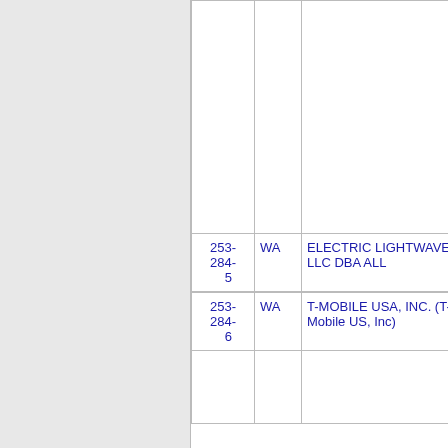| Number | State | Name | Code |
| --- | --- | --- | --- |
|  |  |  |  |
| 253-284-5 | WA | ELECTRIC LIGHTWAVE LLC DBA ALL | 71 |
| 253-284-6 | WA | T-MOBILE USA, INC. (T-Mobile US, Inc) | 65 |